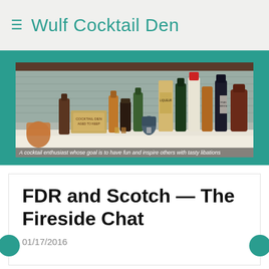Wulf Cocktail Den
[Figure (photo): Photo of a bar shelf with numerous bottles of liquor and cocktail accessories against a tiled backsplash]
A cocktail enthusiast whose goal is to have fun and inspire others with tasty libations
FDR and Scotch -- The Fireside Chat
01/17/2016